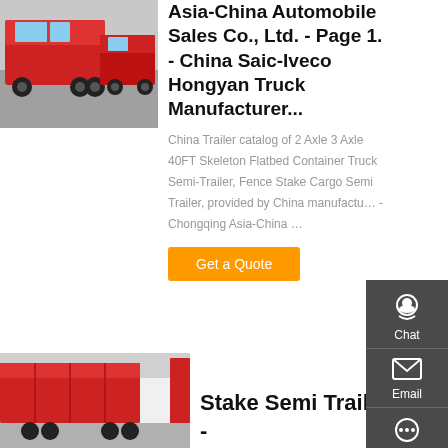[Figure (photo): Photo of red dump trucks parked in a yard]
Asia-China Automobile Sales Co., Ltd. - Page 1. - China Saic-Iveco Hongyan Truck Manufacturer...
China Trailer catalog of 2 Axle 3 Axle 40FT Skeleton Flatbed Container Truck Semi-Trailer, Fence Stake Cargo Semi Trailer, provided by China manufacturer - Chongqing Asia-China ...
Get a Quote
[Figure (photo): Photo of red stake semi trailer trucks]
Stake Semi Trailer -